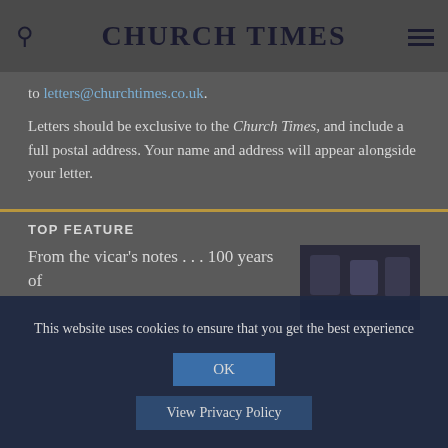CHURCH TIMES
to letters@churchtimes.co.uk.
Letters should be exclusive to the Church Times, and include a full postal address. Your name and address will appear alongside your letter.
TOP FEATURE
From the vicar's notes . . . 100 years of
This website uses cookies to ensure that you get the best experience